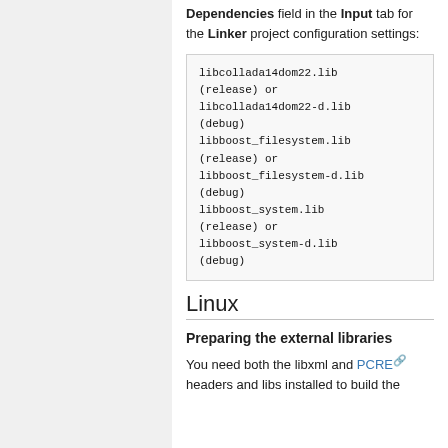Dependencies field in the Input tab for the Linker project configuration settings:
libcollada14dom22.lib (release) or libcollada14dom22-d.lib (debug)
libboost_filesystem.lib (release) or libboost_filesystem-d.lib (debug)
libboost_system.lib (release) or libboost_system-d.lib (debug)
Linux
Preparing the external libraries
You need both the libxml and PCRE headers and libs installed to build the